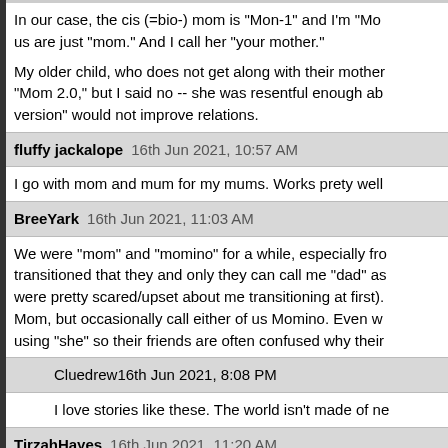In our case, the cis (=bio-) mom is "Mon-1" and I'm "Mo... us are just "mom." And I call her "your mother."
My older child, who does not get along with their mother... "Mom 2.0," but I said no -- she was resentful enough ab... version" would not improve relations.
fluffy jackalope   16th Jun 2021, 10:57 AM
I go with mom and mum for my mums. Works prety well
BreeYark   16th Jun 2021, 11:03 AM
We were "mom" and "momino" for a while, especially fro... transitioned that they and only they can call me "dad" as... were pretty scared/upset about me transitioning at first). Mom, but occasionally call either of us Momino. Even wh... using "she" so their friends are often confused why their
Cluedrew   16th Jun 2021, 8:08 PM
I love stories like these. The world isn't made of ne
TirzahHayes   16th Jun 2021, 11:20 AM
In 9-1-1, Nia calls her foster moms Mama Hen and Mam... remember. It's a bit different here because Rain and Em... something like that could work.